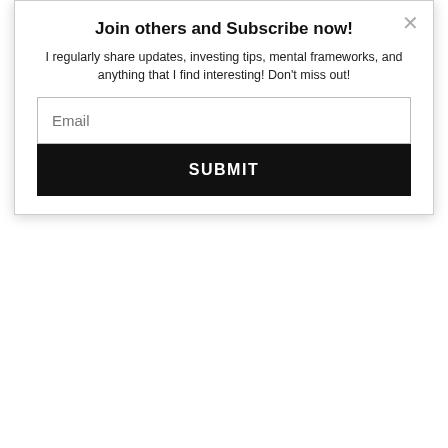Join others and Subscribe now!
I regularly share updates, investing tips, mental frameworks, and anything that I find interesting! Don't miss out!
Email
SUBMIT
seemingly related but random event that drives the stock market.  ⚡ by Convertful
One cannot fault media companies for throwing out such headlines. Unfortunately, we, as readers are to be blamed because who would read a newspaper that reports boring pure statistics and unrelated information without any “logical” arrow of link.
Would you have read my article if I had titled it